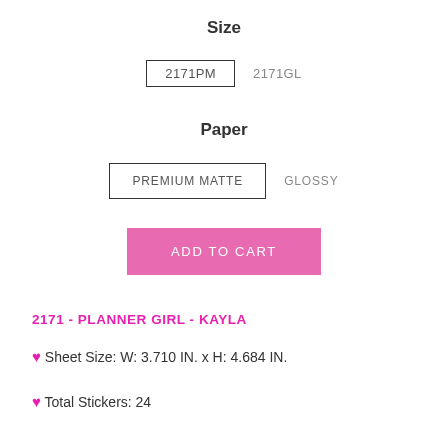Size
2171PM  2171GL
Paper
PREMIUM MATTE  GLOSSY
ADD TO CART
2171 - PLANNER GIRL - KAYLA
♥ Sheet Size: W: 3.710 IN. x H: 4.684 IN.
♥ Total Stickers: 24